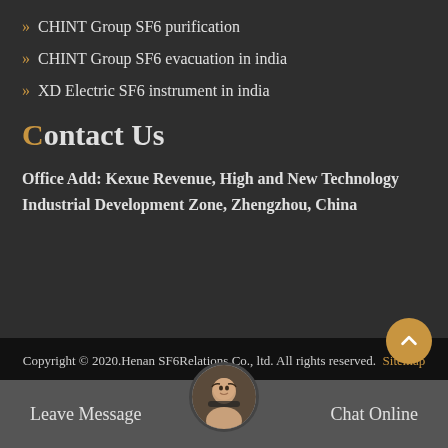CHINT Group SF6 purification
CHINT Group SF6 evacuation in india
XD Electric SF6 instrument in india
Contact Us
Office Add: Kexue Revenue, High and New Technology Industrial Development Zone, Zhengzhou, China
Copyright © 2020.Henan SF6Relations Co., ltd. All rights reserved. Sitemap
Leave Message   Chat Online